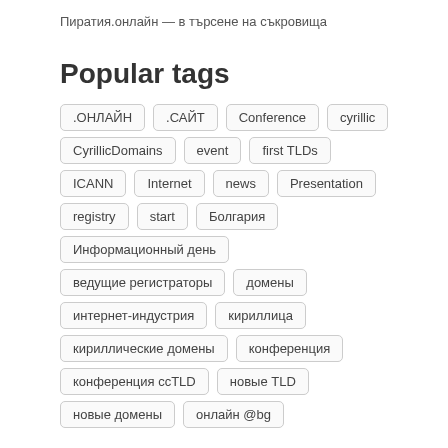Пиратия.онлайн — в търсене на съкровища
Popular tags
.ОНЛАЙН
.САЙТ
Conference
cyrillic
CyrillicDomains
event
first TLDs
ICANN
Internet
news
Presentation
registry
start
Болгария
Информационный день
ведущие регистраторы
домены
интернет-индустрия
кириллица
кириллические домены
конференция
конференция ccTLD
новые TLD
новые домены
онлайн @bg